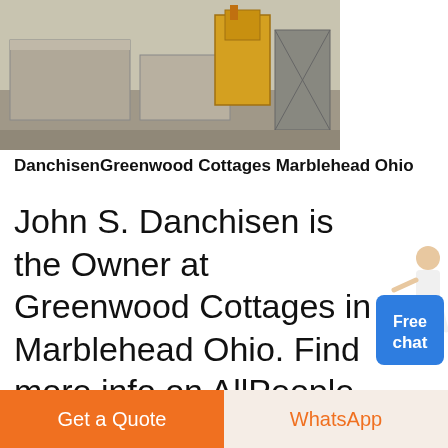[Figure (photo): Construction site photo showing machinery and building materials at Greenwood Cottages Marblehead Ohio]
DanchisenGreenwood Cottages Marblehead Ohio
John S. Danchisen is the Owner at Greenwood Cottages in Marblehead Ohio. Find more info on AllPeople about John S. Danchisen and Greenwood Cottages as well as people who work for similar businesses nearby colleagues for other branches and more people with
[Figure (illustration): Free chat widget button with person figure, blue rounded rectangle showing 'Free chat']
Get a Quote
WhatsApp